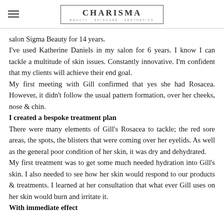Charisma — Beauty Skincare Aesthetics
salon Sigma Beauty for 14 years.
I've used Katherine Daniels in my salon for 6 years. I know I can tackle a multitude of skin issues. Constantly innovative. I'm confident that my clients will achieve their end goal.
My first meeting with Gill confirmed that yes she had Rosacea. However, it didn't follow the usual pattern formation, over her cheeks, nose & chin.
I created a bespoke treatment plan
There were many elements of Gill's Rosacea to tackle; the red sore areas, the spots, the blisters that were coming over her eyelids. As well as the general poor condition of her skin, it was dry and dehydrated.
My first treatment was to get some much needed hydration into Gill's skin. I also needed to see how her skin would respond to our products & treatments. I learned at her consultation that what ever Gill uses on her skin would burn and irritate it.
With immediate effect